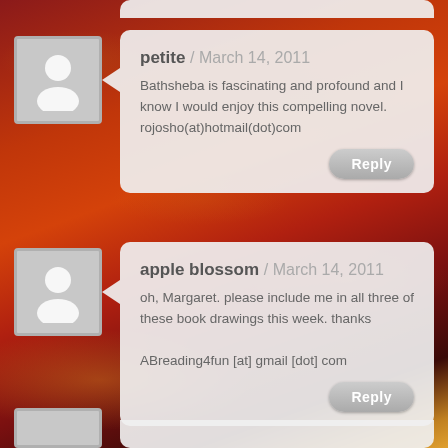petite / March 14, 2011 — Bathsheba is fascinating and profound and I know I would enjoy this compelling novel. rojosho(at)hotmail(dot)com
apple blossom / March 14, 2011 — oh, Margaret. please include me in all three of these book drawings this week. thanks ABreading4fun [at] gmail [dot] com